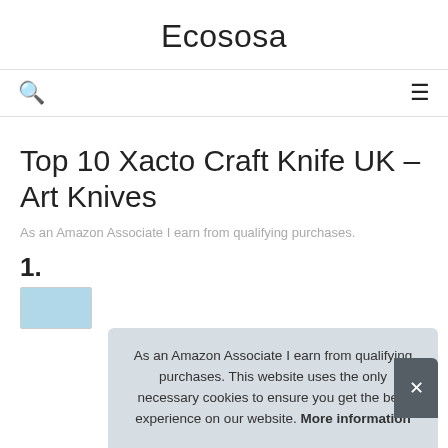Ecososa
Top 10 Xacto Craft Knife UK – Art Knives
As an Amazon Associate I earn from qualifying purchases.
1.
As an Amazon Associate I earn from qualifying purchases. This website uses the only necessary cookies to ensure you get the best experience on our website. More information